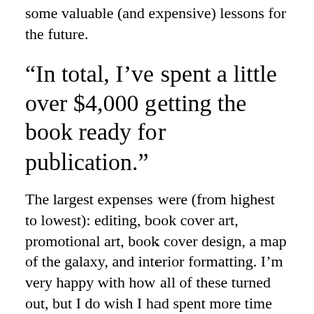some valuable (and expensive) lessons for the future.
“In total, I’ve spent a little over $4,000 getting the book ready for publication.”
The largest expenses were (from highest to lowest): editing, book cover art, promotional art, book cover design, a map of the galaxy, and interior formatting. I’m very happy with how all of these turned out, but I do wish I had spent more time